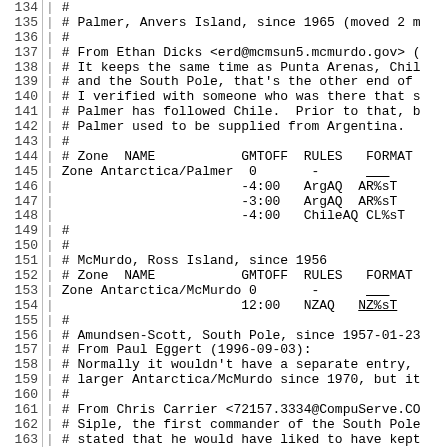Source code / timezone data file excerpt, lines 134-163
134 | #
135 | # Palmer, Anvers Island, since 1965 (moved 2 m
136 | #
137 | # From Ethan Dicks <erd@mcmsun5.mcmurdo.gov> (
138 | # It keeps the same time as Punta Arenas, Chil
139 | # and the South Pole, that's the other end of
140 | # I verified with someone who was there that s
141 | # Palmer has followed Chile.  Prior to that, b
142 | # Palmer used to be supplied from Argentina.
143 | #
144 | # Zone  NAME           GMTOFF  RULES  FORMAT
145 | Zone Antarctica/Palmer  0       -      ___
146 |                         -4:00   ArgAQ  AR%sT
147 |                         -3:00   ArgAQ  AR%sT
148 |                         -4:00   ChileAQ CL%sT
149 | #
150 | #
151 | # McMurdo, Ross Island, since 1956
152 | # Zone  NAME           GMTOFF  RULES  FORMAT
153 | Zone Antarctica/McMurdo 0       -      ___
154 |                         12:00   NZAQ   NZ%sT
155 | #
156 | # Amundsen-Scott, South Pole, since 1957-01-23
157 | # From Paul Eggert (1996-09-03):
158 | # Normally it wouldn't have a separate entry,
159 | # larger Antarctica/McMurdo since 1970, but it
160 | #
161 | # From Chris Carrier <72157.3334@CompuServe.CO
162 | # Siple, the first commander of the South Pole
163 | # stated that he would have liked to have kept